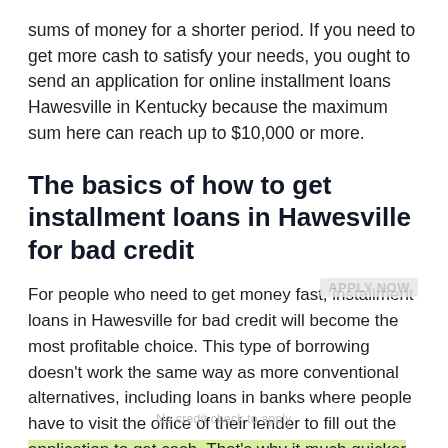sums of money for a shorter period. If you need to get more cash to satisfy your needs, you ought to send an application for online installment loans Hawesville in Kentucky because the maximum sum here can reach up to $10,000 or more.
The basics of how to get installment loans in Hawesville for bad credit
For people who need to get money fast, installment loans in Hawesville for bad credit will become the most profitable choice. This type of borrowing doesn't work the same way as more conventional alternatives, including loans in banks where people have to visit the office of their lender to fill out the application to get cash. That's why it much quicker to get money with installment loans Hawesville in Kentucky because the only activity people ought to do is to find out the most beneficial company, open its website and fill out